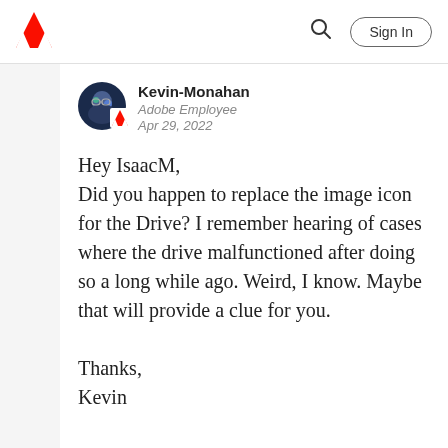Adobe community page header with logo, search, and Sign In button
[Figure (screenshot): Adobe community forum page header with Adobe logo, search icon, and Sign In button]
Kevin-Monahan
Adobe Employee
Apr 29, 2022
Hey IsaacM,
Did you happen to replace the image icon for the Drive? I remember hearing of cases where the drive malfunctioned after doing so a long while ago. Weird, I know. Maybe that will provide a clue for you.

Thanks,
Kevin